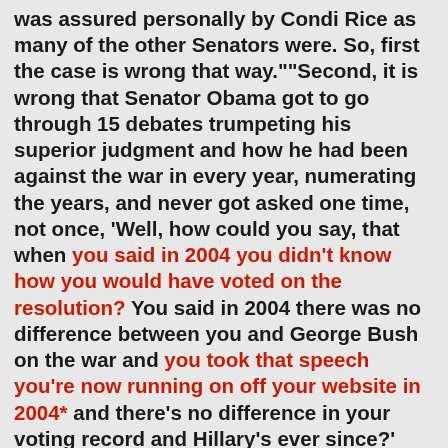was assured personally by Condi Rice as many of the other Senators were. So, first the case is wrong that way.""Second, it is wrong that Senator Obama got to go through 15 debates trumpeting his superior judgment and how he had been against the war in every year, numerating the years, and never got asked one time, not once, 'Well, how could you say, that when you said in 2004 you didn't know how you would have voted on the resolution? You said in 2004 there was no difference between you and George Bush on the war and you took that speech you're now running on off your website in 2004* and there's no difference in your voting record and Hillary's ever since?' Give me a break. "This whole thing is the biggest fairy tale I've ever seen...So you can talk about Mark Penn all you want. What did you think about the Obama thing calling Hillary the Senator from Punjab? Did you like that?" "Or what about the Obama hand out that was covered up, the press never reported on, implying that I was a crook? Scouring me, scathing criticism, over my financial reports. Ken Starr spent $70 million and indicted innocent people to find out that I wouldn't take a nickel to see the cow jump over the moon"So you can talk about Mark Penn if...